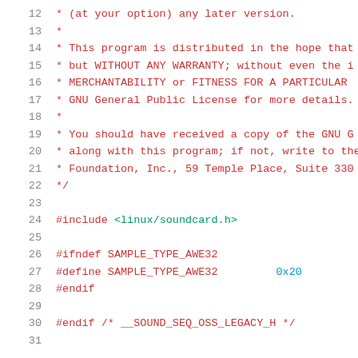12   * (at your option) any later version.
13   *
14   * This program is distributed in the hope that
15   * but WITHOUT ANY WARRANTY; without even the i
16   * MERCHANTABILITY or FITNESS FOR A PARTICULAR
17   * GNU General Public License for more details.
18   *
19   * You should have received a copy of the GNU G
20   * along with this program; if not, write to the
21   * Foundation, Inc., 59 Temple Place, Suite 330
22   */
23
24   #include <linux/soundcard.h>
25
26   #ifndef SAMPLE_TYPE_AWE32
27   #define SAMPLE_TYPE_AWE32         0x20
28   #endif
29
30   #endif /* __SOUND_SEQ_OSS_LEGACY_H */
31